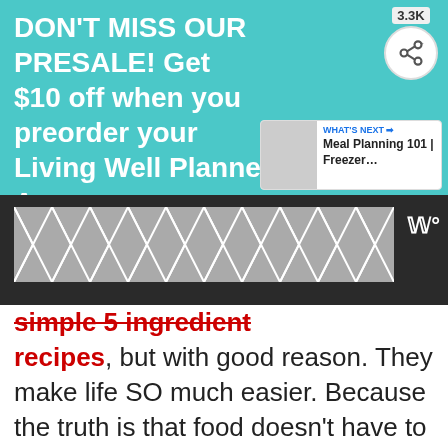DON'T MISS OUR PRESALE! Get $10 off when you preorder your Living Well Planner® by Aug 19th
[Figure (infographic): Chevron/zigzag repeating pattern strip in gray on dark background, partially overlaying promotional content]
Here [partially obscured] a little bit obsessed with simple 5 ingredient recipes, but with good reason. They make life SO much easier. Because the truth is that food doesn't have to be complicated to be delicious!